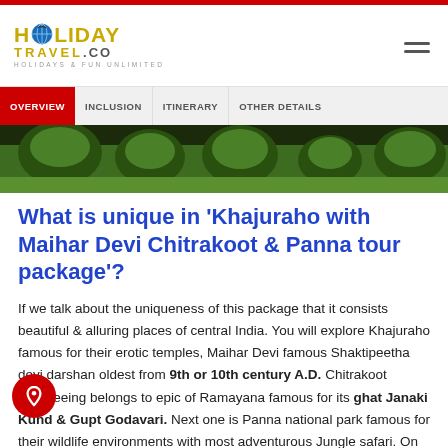HOLIDAY TRAVEL.CO — HOLIDAYS & FUN UNLIMITED
OVERVIEW | INCLUSION | ITINERARY | OTHER DETAILS
[Figure (photo): Landscape image showing green bushes and trees, bottom portion of a scenic outdoor area]
What is unique in 'Khajuraho with Maihar Devi Chitrakoot & Panna tour package'?
If we talk about the uniqueness of this package that it consists beautiful & alluring places of central India. You will explore Khajuraho famous for their erotic temples, Maihar Devi famous Shaktipeetha devi darshan oldest from 9th or 10th century A.D. Chitrakoot sightseeing belongs to epic of Ramayana famous for its ghat Janaki Kund & Gupt Godavari. Next one is Panna national park famous for their wildlife environments with most adventurous Jungle safari. On the other side you have choice to